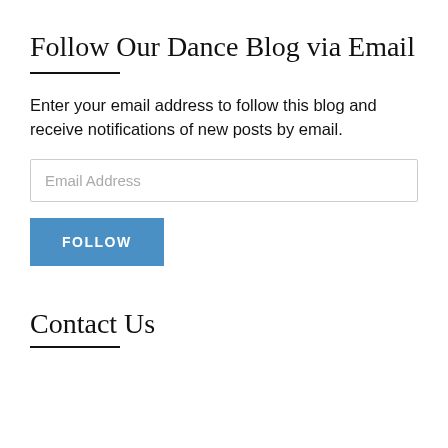Follow Our Dance Blog via Email
Enter your email address to follow this blog and receive notifications of new posts by email.
Contact Us